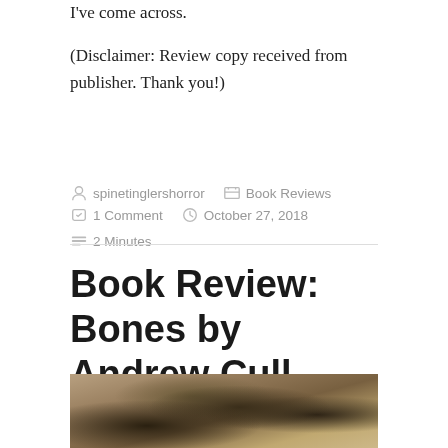I've come across.
(Disclaimer: Review copy received from publisher. Thank you!)
spinetinglershorror   Book Reviews   1 Comment   October 27, 2018   2 Minutes
Book Review: Bones by Andrew Cull
[Figure (photo): Photograph of skeleton/skull Halloween decorations and figurines arranged on a burlap background with a book visible underneath]